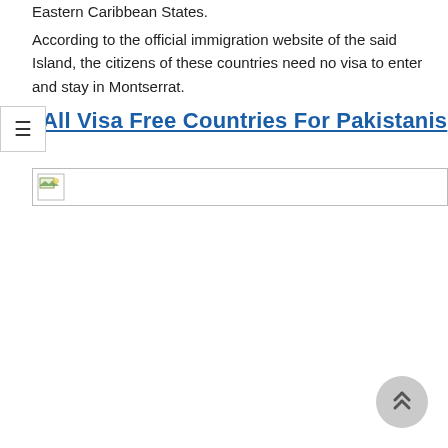Eastern Caribbean States.
According to the official immigration website of the said Island, the citizens of these countries need no visa to enter and stay in Montserrat.
All Visa Free Countries For Pakistanis
[Figure (photo): Image placeholder with broken image icon, representing a photo related to visa free countries for Pakistanis]